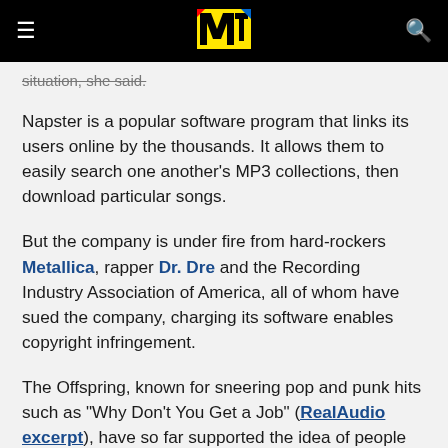MTV logo header with menu and search icons
situation, she said.
Napster is a popular software program that links its users online by the thousands. It allows them to easily search one another's MP3 collections, then download particular songs.
But the company is under fire from hard-rockers Metallica, rapper Dr. Dre and the Recording Industry Association of America, all of whom have sued the company, charging its software enables copyright infringement.
The Offspring, known for sneering pop and punk hits such as "Why Don't You Get a Job" (RealAudio excerpt), have so far supported the idea of people trading their